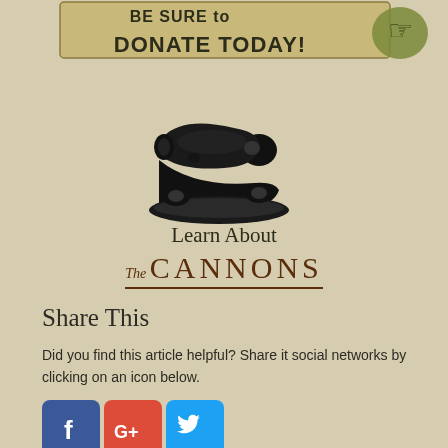[Figure (illustration): Partial top banner with text 'BE SURE to DONATE TODAY!' and a decorative pointing hand figure on the right, vintage style]
[Figure (illustration): Black illustration of a historic cannon on a wooden mount/carriage, viewed from the side]
Learn About
The CANNONS
Share This
Did you find this article helpful? Share it social networks by clicking on an icon below.
[Figure (infographic): Three social media icons: Facebook (blue), Google+ (red), Twitter (light blue)]